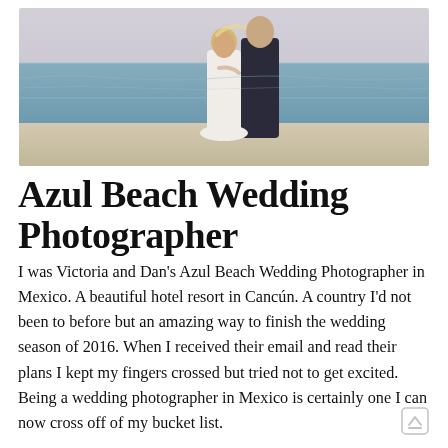[Figure (photo): A bride and groom standing close together on a beach at sunset, facing each other. The ocean and a pale sky are visible in the background.]
Azul Beach Wedding Photographer
I was Victoria and Dan's Azul Beach Wedding Photographer in Mexico. A beautiful hotel resort in Cancún. A country I'd not been to before but an amazing way to finish the wedding season of 2016. When I received their email and read their plans I kept my fingers crossed but tried not to get excited. Being a wedding photographer in Mexico is certainly one I can now cross off of my bucket list.